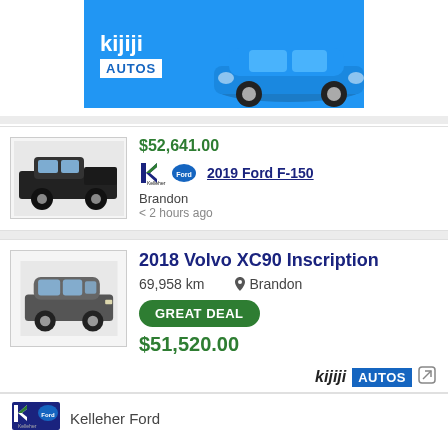[Figure (logo): Kijiji Autos banner advertisement with blue BMW car on blue background]
[Figure (photo): 2019 Ford F-150 black pickup truck]
$52,641.00
[Figure (logo): Kelleher Ford dealer logo]
2019 Ford F-150
Brandon
< 2 hours ago
[Figure (photo): 2018 Volvo XC90 grey SUV]
2018 Volvo XC90 Inscription
69,958 km
Brandon
GREAT DEAL
$51,520.00
[Figure (logo): Kijiji Autos logo with external link icon]
[Figure (logo): Kelleher Ford dealer logo]
Kelleher Ford